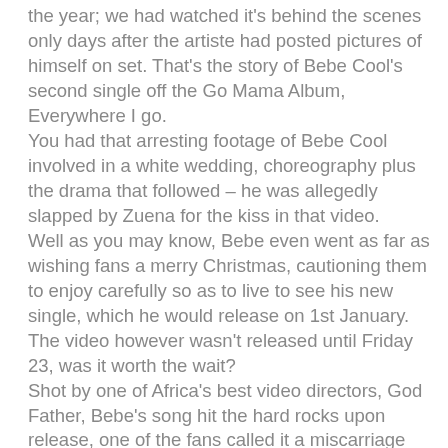the year; we had watched it's behind the scenes only days after the artiste had posted pictures of himself on set. That's the story of Bebe Cool's second single off the Go Mama Album, Everywhere I go. You had that arresting footage of Bebe Cool involved in a white wedding, choreography plus the drama that followed – he was allegedly slapped by Zuena for the kiss in that video. Well as you may know, Bebe even went as far as wishing fans a merry Christmas, cautioning them to enjoy carefully so as to live to see his new single, which he would release on 1st January. The video however wasn't released until Friday 23, was it worth the wait? Shot by one of Africa's best video directors, God Father, Bebe's song hit the hard rocks upon release, one of the fans called it a miscarriage and that it needed a re-shoot while others posted on social media asking the producers to refund the monies. The song sets off with Bebe clad in Red and black bolting away line 'everywhere I go'. The video, at least according to the story board is about a couple that has been seeing each other for years, they met